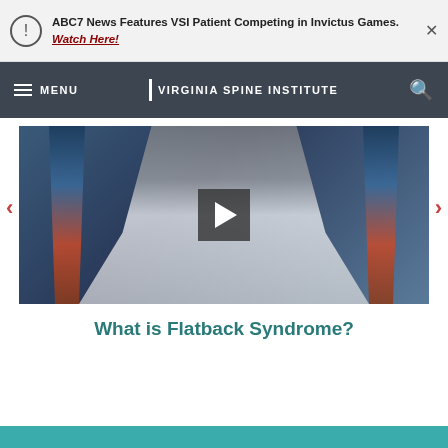ABC7 News Features VSI Patient Competing in Invictus Games. Watch Here!
[Figure (screenshot): Virginia Spine Institute navigation bar with hamburger menu, logo, and search icon on dark background]
[Figure (photo): Video thumbnail showing a doctor in white coat pointing at a spine anatomy display on a screen, with a play button overlay. Two spine x-ray/diagram images visible on the screen.]
What is Flatback Syndrome?